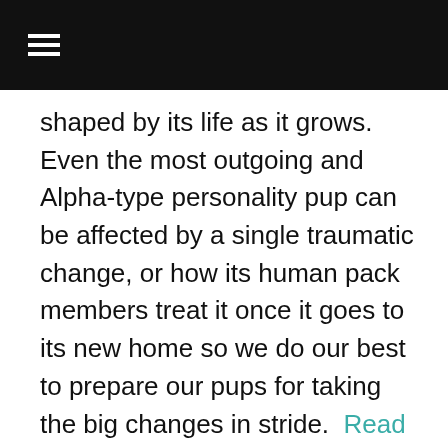≡
shaped by its life as it grows. Even the most outgoing and Alpha-type personality pup can be affected by a single traumatic change, or how its human pack members treat it once it goes to its new home so we do our best to prepare our pups for taking the big changes in stride.  Read more about how our pups are socialized and begin training before their eyes even open.